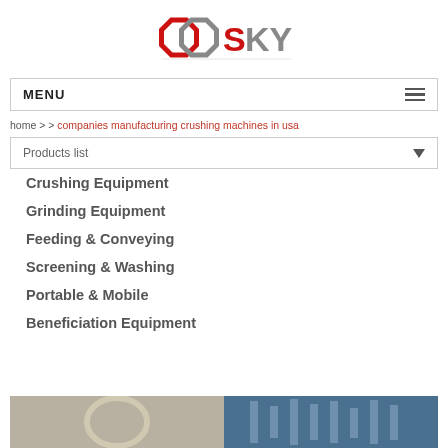[Figure (logo): SKY company logo with two interlocked octagon shapes in red and gray, text SKY in red and gray]
MENU
home > > companies manufacturing crushing machines in usa
Products list
Crushing Equipment
Grinding Equipment
Feeding & Conveying
Screening & Washing
Portable & Mobile
Beneficiation Equipment
[Figure (photo): Industrial machinery / plant equipment photo at the bottom of the page]